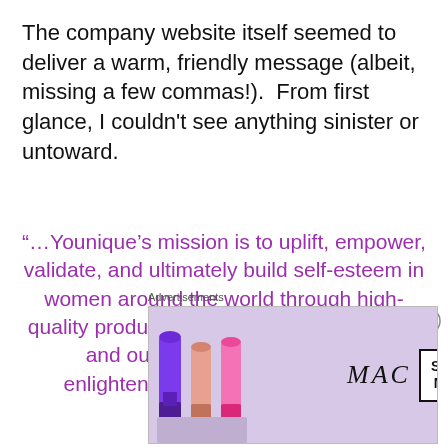The company website itself seemed to deliver a warm, friendly message (albeit, missing a few commas!).  From first glance, I couldn't see anything sinister or untoward.
“…Younique’s mission is to uplift, empower, validate, and ultimately build self-esteem in women around the world through high-quality products that encourage both inner and outer beauty and spiritual enlightenment while also providing opportunities for
Advertisements
[Figure (photo): MAC cosmetics advertisement showing colorful lipsticks and a SHOP NOW button]